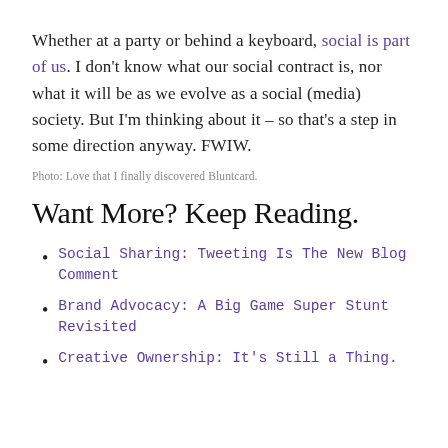Whether at a party or behind a keyboard, social is part of us. I don't know what our social contract is, nor what it will be as we evolve as a social (media) society. But I'm thinking about it – so that's a step in some direction anyway. FWIW.
Photo: Love that I finally discovered Bluntcard.
Want More? Keep Reading.
Social Sharing: Tweeting Is The New Blog Comment
Brand Advocacy: A Big Game Super Stunt Revisited
Creative Ownership: It's Still a Thing.